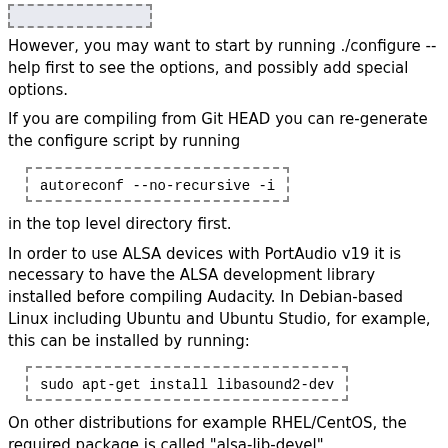[Figure (other): Dashed box placeholder image at top of page]
However, you may want to start by running ./configure --help first to see the options, and possibly add special options.
If you are compiling from Git HEAD you can re-generate the configure script by running
autoreconf --no-recursive -i
in the top level directory first.
In order to use ALSA devices with PortAudio v19 it is necessary to have the ALSA development library installed before compiling Audacity. In Debian-based Linux including Ubuntu and Ubuntu Studio, for example, this can be installed by running:
sudo apt-get install libasound2-dev
On other distributions for example RHEL/CentOS, the required package is called "alsa-lib-devel".
Modifying the source